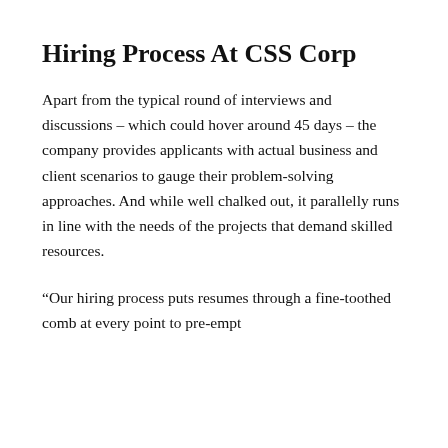Hiring Process At CSS Corp
Apart from the typical round of interviews and discussions – which could hover around 45 days – the company provides applicants with actual business and client scenarios to gauge their problem-solving approaches. And while well chalked out, it parallelly runs in line with the needs of the projects that demand skilled resources.
“Our hiring process puts resumes through a fine-toothed comb at every point to pre-empt